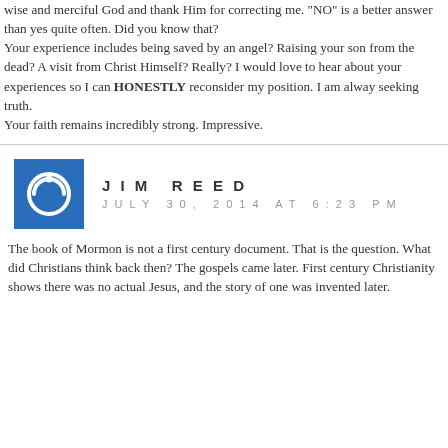wise and merciful God and thank Him for correcting me. "NO" is a better answer than yes quite often. Did you know that?
Your experience includes being saved by an angel? Raising your son from the dead? A visit from Christ Himself? Really? I would love to hear about your experiences so I can HONESTLY reconsider my position. I am alway seeking truth.
Your faith remains incredibly strong. Impressive.
JIM REED
JULY 30, 2014 AT 6:23 PM
The book of Mormon is not a first century document. That is the question. What did Christians think back then? The gospels came later. First century Christianity shows there was no actual Jesus, and the story of one was invented later.